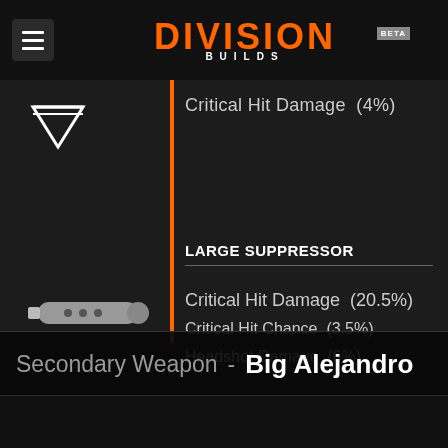DIVISION BUILDS BETA
Critical Hit Damage  (4%)
LARGE SUPPRESSOR
Critical Hit Damage  (20.5%)
Critical Hit Chance  (3.5%)
Headshot Damage  (6%)
Secondary Weapon  -  Big Alejandro